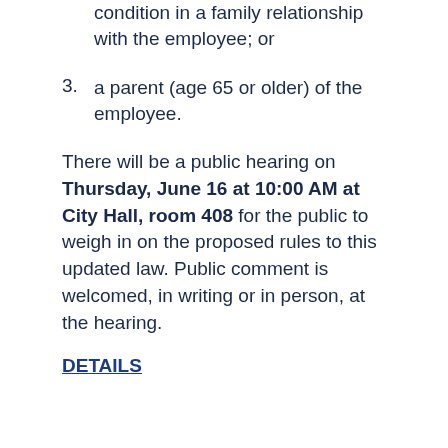condition in a family relationship with the employee; or
3. a parent (age 65 or older) of the employee.
There will be a public hearing on Thursday, June 16 at 10:00 AM at City Hall, room 408 for the public to weigh in on the proposed rules to this updated law. Public comment is welcomed, in writing or in person, at the hearing.
DETAILS
Mobile food program at Presidio Tunnel Tops seeks vendors